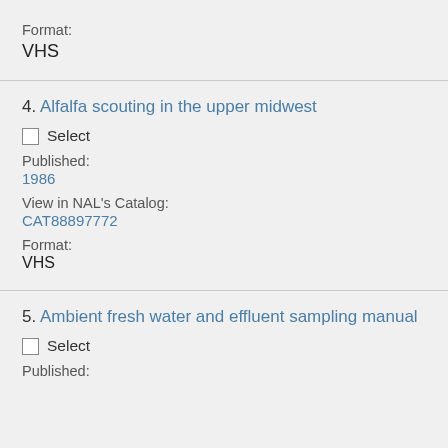Format:
VHS
4. Alfalfa scouting in the upper midwest
Select
Published:
1986
View in NAL's Catalog:
CAT88897772
Format:
VHS
5. Ambient fresh water and effluent sampling manual
Select
Published: